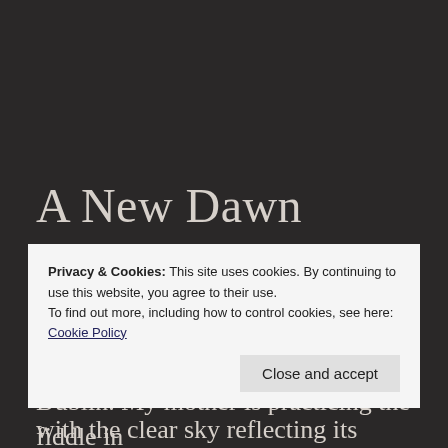A New Dawn
Jan 1st, 2021
It’s New Year’s Day, 2021, and I’m at home in Dublin. My mother is practicing the fiddle in
Privacy & Cookies: This site uses cookies. By continuing to use this website, you agree to their use.
To find out more, including how to control cookies, see here: Cookie Policy
Close and accept
with the clear sky reflecting its colour off